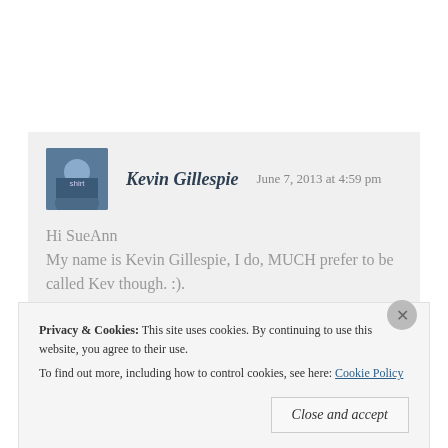Kevin Gillespie   June 7, 2013 at 4:59 pm
Hi SueAnn

My name is Kevin Gillespie, I do, MUCH prefer to be called Kev though. :).
Privacy & Cookies: This site uses cookies. By continuing to use this website, you agree to their use.
To find out more, including how to control cookies, see here: Cookie Policy
Close and accept